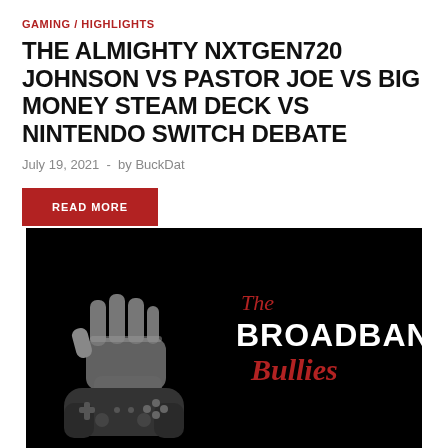GAMING / HIGHLIGHTS
THE ALMIGHTY NXTGEN720 JOHNSON VS PASTOR JOE VS BIG MONEY STEAM DECK VS NINTENDO SWITCH DEBATE
July 19, 2021  -  by BuckDat
READ MORE
[Figure (logo): The Broadband Bullies logo: black background with a grayscale fist holding a game controller on the left, and stylized text 'The BROADBAND Bullies' on the right with 'The' and 'Bullies' in dark red italic and 'BROADBAND' in bold white.]